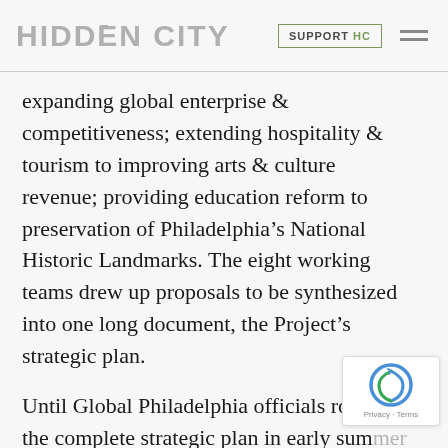HIDDEN CITY   SUPPORT HC
expanding global enterprise & competitiveness; extending hospitality & tourism to improving arts & culture revenue; providing education reform to preservation of Philadelphia's National Historic Landmarks. The eight working teams drew up proposals to be synthesized into one long document, the Project's strategic plan.
Until Global Philadelphia officials roll out the complete strategic plan in early sum... steps are being taken to insure the public's